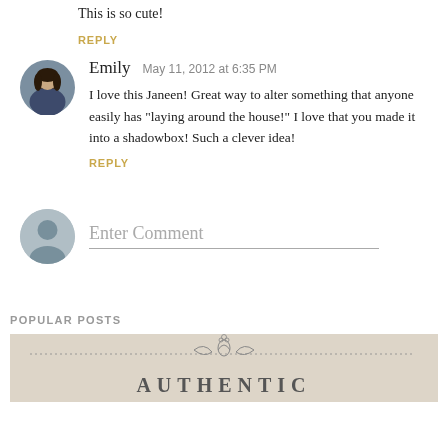This is so cute!
REPLY
Emily   May 11, 2012 at 6:35 PM
I love this Janeen! Great way to alter something that anyone easily has "laying around the house!" I love that you made it into a shadowbox! Such a clever idea!
REPLY
Enter Comment
POPULAR POSTS
[Figure (illustration): Decorative ornamental divider with scrollwork design at the bottom of the page]